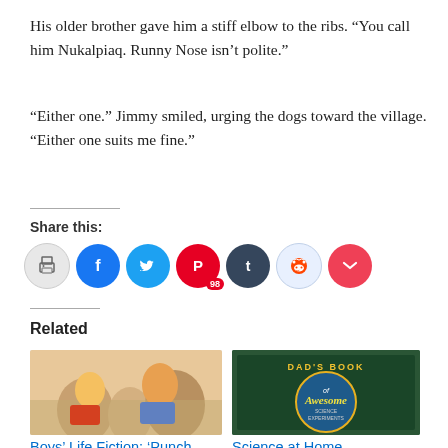His older brother gave him a stiff elbow to the ribs. “You call him Nukalpiaq. Runny Nose isn’t polite.”
“Either one.” Jimmy smiled, urging the dogs toward the village. “Either one suits me fine.”
Share this:
[Figure (infographic): Social sharing icons: print, Facebook, Twitter, Pinterest (98), Tumblr, Reddit, Pocket]
Related
[Figure (photo): Book cover or illustration for Boys’ Life Fiction: ‘Punch ...]
Boys’ Life Fiction: ‘Punch ...
[Figure (photo): Book cover for Science at Home - Dad's Book of Awesome Science Experiments]
Science at Home